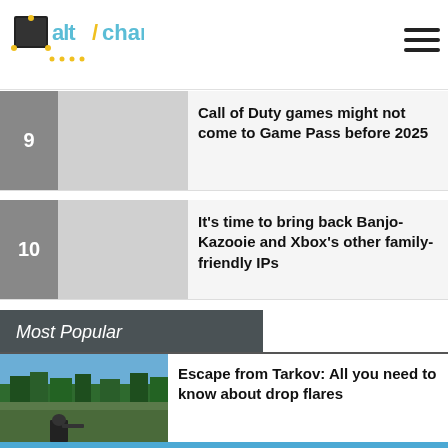[Figure (logo): AltChar gaming website logo with pixelated font and game controller graphic]
9 — Call of Duty games might not come to Game Pass before 2025
10 — It's time to bring back Banjo-Kazooie and Xbox's other family-friendly IPs
Most Popular
Escape from Tarkov: All you need to know about drop flares
[Figure (photo): Escape from Tarkov game screenshot showing a forest/outdoor scene with a character in foreground]